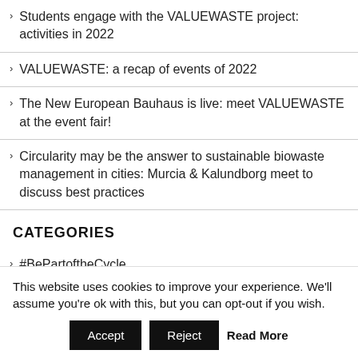Students engage with the VALUEWASTE project: activities in 2022
VALUEWASTE: a recap of events of 2022
The New European Bauhaus is live: meet VALUEWASTE at the event fair!
Circularity may be the answer to sustainable biowaste management in cities: Murcia & Kalundborg meet to discuss best practices
CATEGORIES
#BePartoftheCycle
This website uses cookies to improve your experience. We'll assume you're ok with this, but you can opt-out if you wish.